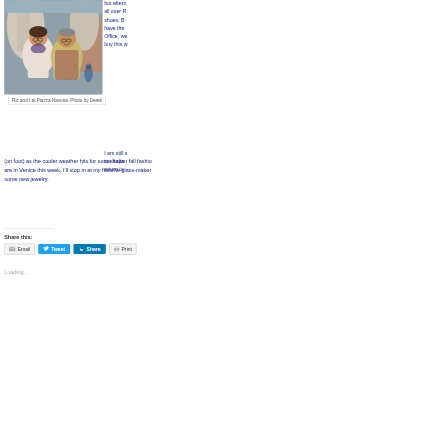[Figure (photo): A couple (Ric and the author) standing in front of a fountain sculpture at Piazza Navona, Rome. The woman wears glasses and a scarf; the man wears a light jacket. Stone sculptures and a building are visible in the background.]
Ric and I at Piazza Navona. Photo by Derek
hot afternoon all over R shoes. B have the Office, we buy this w
I am still s to shops return to (on foot) as the cooler weather hits for some Italian fall fashio are in Venice this week, I'll stop in at my favorite glass-maker some new jewelry.
Share this:
Email   Tweet   Share   Print
Loading...